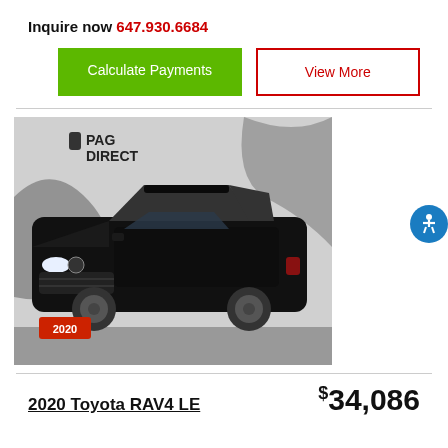Inquire now 647.930.6684
Calculate Payments
View More
[Figure (photo): Black 2020 Toyota RAV4 LE SUV parked inside a dealership showroom with PAG Direct branding on the wall behind it. A red license plate showing '2020' is visible on the front.]
2020 Toyota RAV4 LE
$34,086